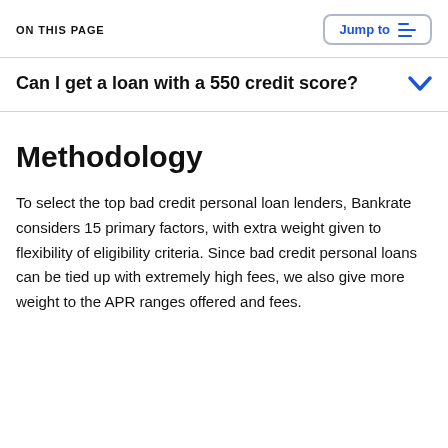ON THIS PAGE
Can I get a loan with a 550 credit score?
Methodology
To select the top bad credit personal loan lenders, Bankrate considers 15 primary factors, with extra weight given to flexibility of eligibility criteria. Since bad credit personal loans can be tied up with extremely high fees, we also give more weight to the APR ranges offered and fees.